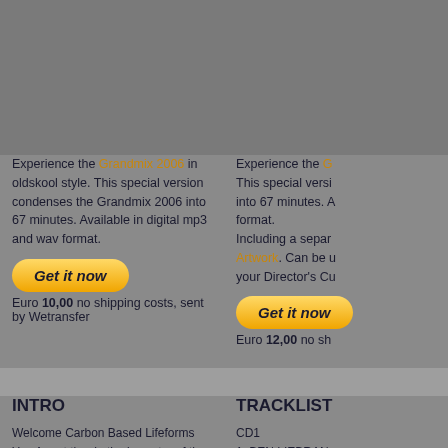Experience the Grandmix 2006 in oldskool style. This special version condenses the Grandmix 2006 into 67 minutes. Available in digital mp3 and wav format.
Experience the G... This special versi... into 67 minutes. A... format. Including a separ... Artwork. Can be u... your Director's Cu...
[Figure (other): Get it now button (orange/yellow gradient pill-shaped button)]
Euro 10,00 no shipping costs, sent by Wetransfer
[Figure (other): Get it now button (orange/yellow gradient pill-shaped button, partially visible)]
Euro 12,00 no sh...
INTRO
TRACKLIST
Welcome Carbon Based Lifeforms
You Are at the rhythmic centre of the Universe
We are here to register, to archive,
But most important to guide you through the infinite posibilities of dance music.
So much music, So many dance floors
What to choose, Where to go.
How Can Electric Space Trave... S...
CD1
1. BEN LIEBRAN...
2. THE SHAPESH...
3. GREGOR SAL...
4. THE SHAPESH...
5. MISH MASH F...
6. BLAZE FT. BA...
Love